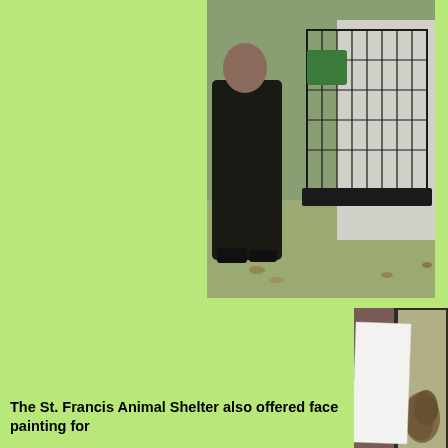[Figure (photo): A person in dark clothing standing next to a wire animal cage/crate outdoors on grass with leaves on the ground, near a white building.]
[Figure (photo): A handwritten sign reading 'Ball Python only $5.00' propped against a glass terrarium containing a ball python snake coiled on newspaper.]
[Figure (photo): Partial photo visible at bottom right corner, appears to show greenery/outdoor scene.]
The St. Francis Animal Shelter also offered face painting for